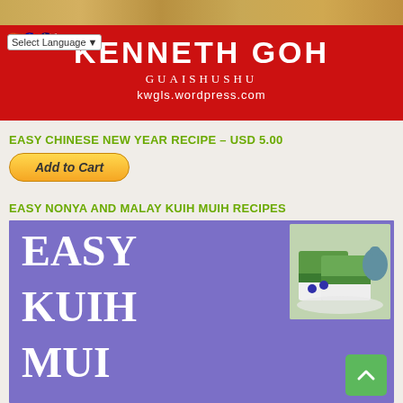[Figure (screenshot): Website banner for Kenneth Goh / Guaishushu food blog with red background, showing name, subtitle 'GUAISHUSHU', URL 'kwgls.wordpress.com', flag icons, and a language select dropdown. Top strip shows food photograph.]
EASY CHINESE NEW YEAR RECIPE – USD 5.00
[Figure (other): Add to Cart button styled in golden/orange gradient with rounded corners, italic bold text]
EASY NONYA AND MALAY KUIH MUIH RECIPES
[Figure (photo): Book cover image with purple background showing 'EASY KUIH MUIH' text in white serif font, and a photo of green layered kuih dessert on a plate in the upper right corner. A green scroll-to-top button is in the lower right.]